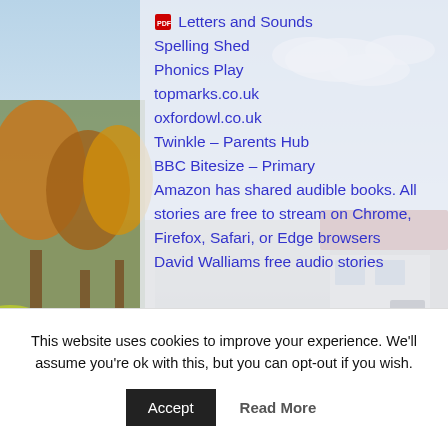[Figure (photo): Background photo of a school building exterior with trees on the left and a low-roof building with red tiles on the right, sky with clouds visible.]
Letters and Sounds
Spelling Shed
Phonics Play
topmarks.co.uk
oxfordowl.co.uk
Twinkle – Parents Hub
BBC Bitesize – Primary
Amazon has shared audible books. All stories are free to stream on Chrome, Firefox, Safari, or Edge browsers
David Walliams free audio stories
Maths:
This website uses cookies to improve your experience. We'll assume you're ok with this, but you can opt-out if you wish.